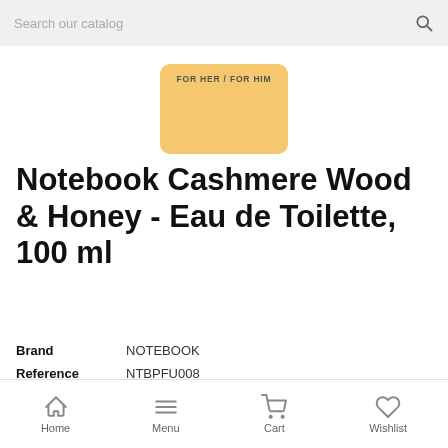[Figure (screenshot): Search bar with placeholder text 'Search our catalog' and a search icon on the right]
[Figure (photo): Partial view of a golden/yellow product box with text 'FOR HER / FOR HIM']
Notebook Cashmere Wood & Honey - Eau de Toilette, 100 ml
Brand   NOTEBOOK
Reference   NTBPFU008
EAN13   8054609780520
▲ Last items in stock
[Figure (screenshot): Bottom navigation bar with Home, Menu, Cart, and Wishlist icons]